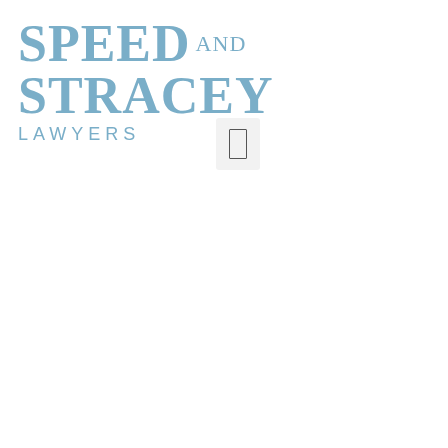[Figure (logo): Speed and Stracey Lawyers logo in light blue serif font with 'SPEED' and 'STRACEY' in large bold letters and 'AND' smaller between them, with 'LAWYERS' in spaced sans-serif below]
[Figure (other): Small light gray box containing a rectangular outlined icon, likely a document or page placeholder]